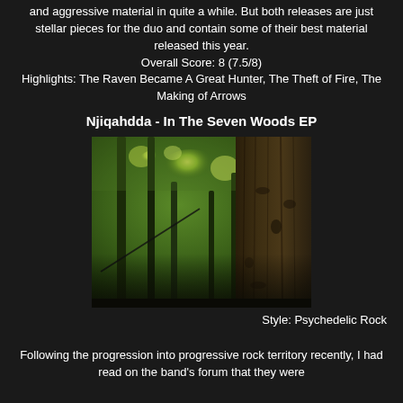and aggressive material in quite a while. But both releases are just stellar pieces for the duo and contain some of their best material released this year.
Overall Score: 8 (7.5/8)
Highlights: The Raven Became A Great Hunter, The Theft of Fire, The Making of Arrows
Njiqahdda - In The Seven Woods EP
[Figure (photo): Album cover photo showing a forest scene with trees, green foliage and bokeh light effects in the background, with a close-up of dark tree bark on the right side.]
Style: Psychedelic Rock
Following the progression into progressive rock territory recently, I had read on the band's forum that they were